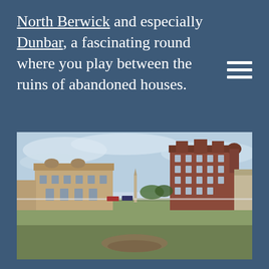North Berwick and especially Dunbar, a fascinating round where you play between the ruins of abandoned houses.
[Figure (photo): Panoramic photograph of a Scottish golf course (likely St Andrews) with a historic stone clubhouse on the left and a large red-brick Victorian hotel on the right, set against a wide open fairway and pale blue sky with clouds.]